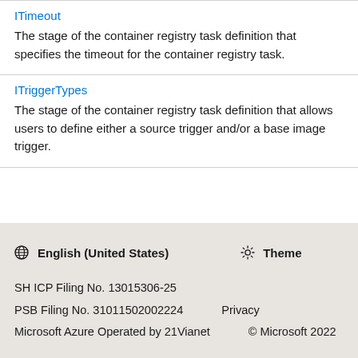| ITimeout | The stage of the container registry task definition that specifies the timeout for the container registry task. |
| ITriggerTypes | The stage of the container registry task definition that allows users to define either a source trigger and/or a base image trigger. |
🌐 English (United States)   ☀ Theme
SH ICP Filing No. 13015306-25
PSB Filing No. 31011502002224   Privacy
Microsoft Azure Operated by 21Vianet   © Microsoft 2022